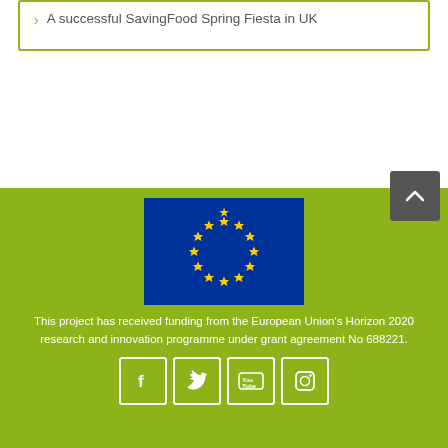A successful SavingFood Spring Fiesta in UK
[Figure (illustration): EU flag with blue background and 12 gold stars in a circle]
This project has received funding from the European Union's Horizon 2020 research and innovation programme under grant agreement No 688221.
[Figure (infographic): Social media icons: Facebook, Twitter, YouTube, Instagram in white-bordered square buttons on green background]